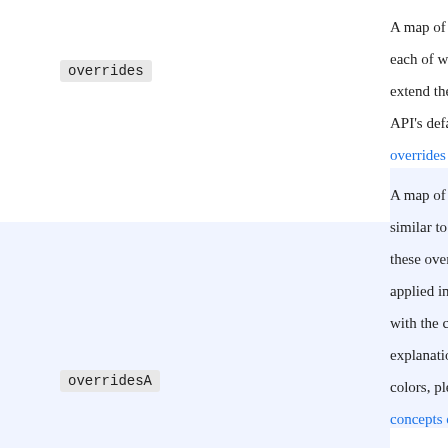| Key | Description |
| --- | --- |
| overrides | A map of keys and values, each of which override or extend the settings from the API's default values. overrides A map of keys and values, similar to overrides, but these overrides are applied in MetricsD with the color a explanation of the colors, please read concepts document |
| overridesA | A map of keys and values, similar to overrides, but these overrides are applied in MetricsD with the color a explanation of the colors, please read concepts document |
| overridesB | Same as overrides for B |
| adminKey | An admin key that gets auto-generated each time the instance starts. It can be used to authenticate against Tsdb-Gw |
|  | The color which is active. For an explanation |